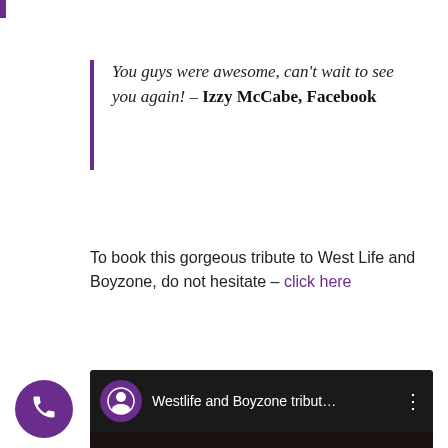You guys were awesome, can't wait to see you again! – Izzy McCabe, Facebook
To book this gorgeous tribute to West Life and Boyzone, do not hesitate – click here
[Figure (screenshot): YouTube video embed showing 'Westlife and Boyzone tribut...' with a play button overlay, Artister channel logo, and a performer on stage in the thumbnail background.]